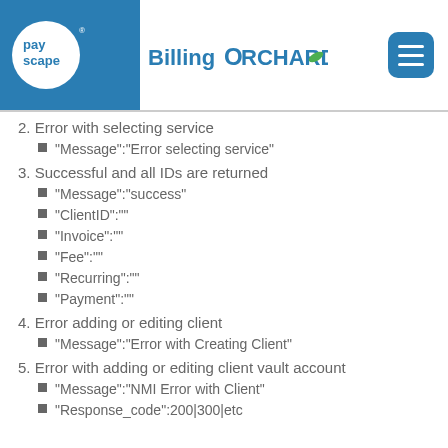payscape BillingOrchard
2. Error with selecting service
"Message":"Error selecting service"
3. Successful and all IDs are returned
"Message":"success"
"ClientID":""
"Invoice":""
"Fee":""
"Recurring":""
"Payment":""
4. Error adding or editing client
"Message":"Error with Creating Client"
5. Error with adding or editing client vault account
"Message":"NMI Error with Client"
"Response_code":200|300|etc